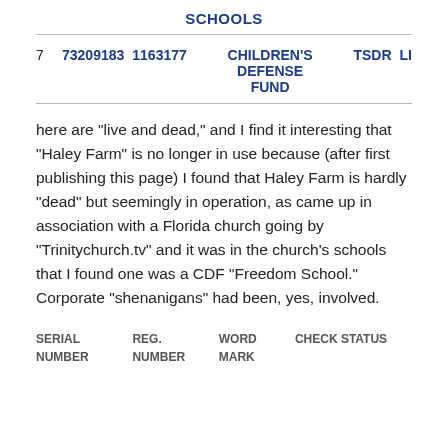SCHOOLS
|  | SERIAL NUMBER | REG. NUMBER | WORD MARK | TSDR |  |
| --- | --- | --- | --- | --- | --- |
| 7 | 73209183 | 1163177 | CHILDREN'S DEFENSE FUND | TSDR | LI |
here are “live and dead,” and I find it interesting that “Haley Farm” is no longer in use because (after first publishing this page) I found that Haley Farm is hardly “dead” but seemingly in operation, as came up in association with a Florida church going by “Trinitychurch.tv” and it was in the church’s schools that I found one was a CDF “Freedom School.”  Corporate “shenanigans” had been, yes, involved.
| SERIAL NUMBER | REG. NUMBER | WORD MARK | CHECK STATUS |
| --- | --- | --- | --- |